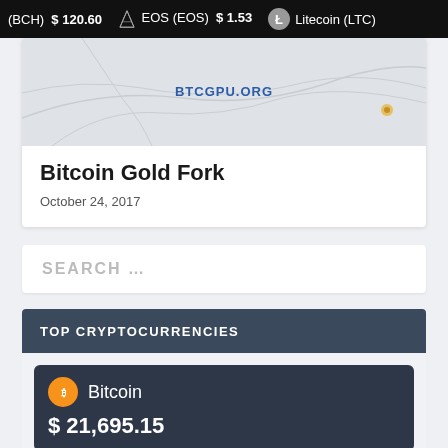(BCH) $ 120.60   EOS (EOS) $ 1.53   Litecoin (LTC)
[Figure (screenshot): Article thumbnail image showing a map background with BTCGPU.ORG text watermark]
Bitcoin Gold Fork
October 24, 2017
SEARCH …
TOP CRYPTOCURRENCIES
Bitcoin
$ 21,695.15